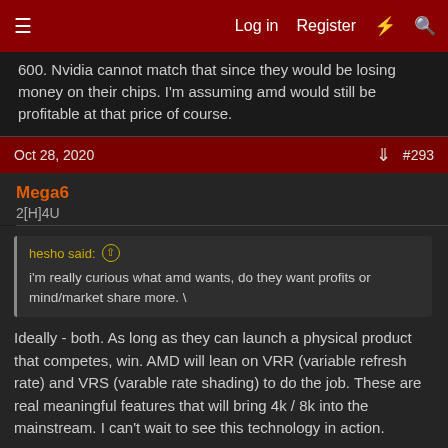Log in  Register  #  (search)
600. Nvidia cannot match that since they would be losing money on their chips. I'm assuming amd would still be profitable at that price of course.
Oct 28, 2020  #293
Mega6
2[H]4U
hesho said: ↑
i'm really curious what amd wants, do they want profits or mind/market share more. \
Ideally - both. As long as they can launch a physical product that competes, win. AMD will lean on VRR (variable refresh rate) and VRS (varable rate shading) to do the job. These are real meaningful features that will bring 4k / 8k into the mainstream. I can't wait to see this technology in action.